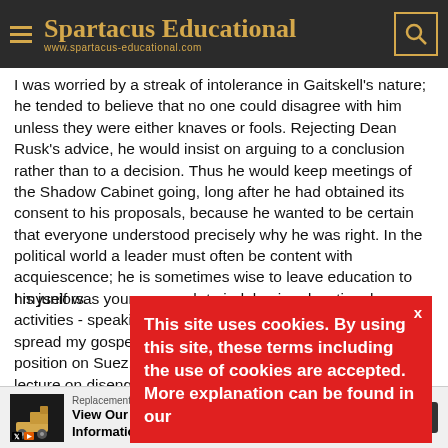Spartacus Educational — www.spartacus-educational.com
I was worried by a streak of intolerance in Gaitskell's nature; he tended to believe that no one could disagree with him unless they were either knaves or fools. Rejecting Dean Rusk's advice, he would insist on arguing to a conclusion rather than to a decision. Thus he would keep meetings of the Shadow Cabinet going, long after he had obtained its consent to his proposals, because he wanted to be certain that everyone understood precisely why he was right. In the political world a leader must often be content with acquiescence; he is sometimes wise to leave education to his juniors.
I myself was young enough to indulge in educational activities - speaking, writing articles, and broadcasting to spread my gospel. Gaitskell... think I helped to firm his position on Suez, the Common Market, Russia, and... lecture on diseng... become Prime M... Foreign Secretar...
This site uses cookies. By using this site, these terms including the use of cookies are accepted. More explanation can be found in our
[Figure (screenshot): Ad banner: Replacement Digging Parts — View Our Site For Information — Open button]